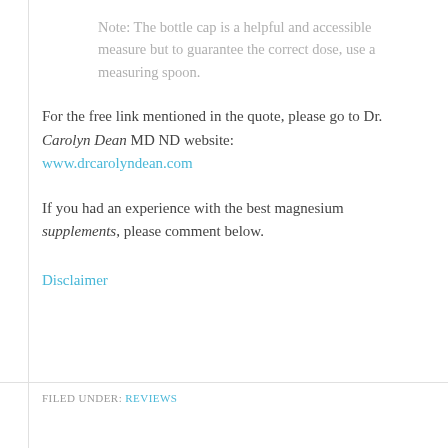Note: The bottle cap is a helpful and accessible measure but to guarantee the correct dose, use a measuring spoon.
For the free link mentioned in the quote, please go to Dr. Carolyn Dean MD ND website: www.drcarolyndean.com
If you had an experience with the best magnesium supplements, please comment below.
Disclaimer
FILED UNDER: REVIEWS